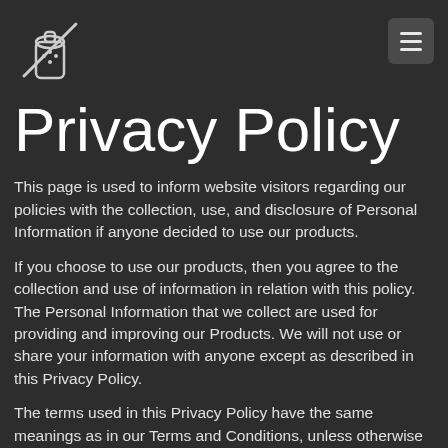[Figure (logo): Salt shaker logo with a line through it, white on dark background]
Privacy Policy
This page is used to inform website visitors regarding our policies with the collection, use, and disclosure of Personal Information if anyone decided to use our products.
If you choose to use our products, then you agree to the collection and use of information in relation with this policy. The Personal Information that we collect are used for providing and improving our Products. We will not use or share your information with anyone except as described in this Privacy Policy.
The terms used in this Privacy Policy have the same meanings as in our Terms and Conditions, unless otherwise